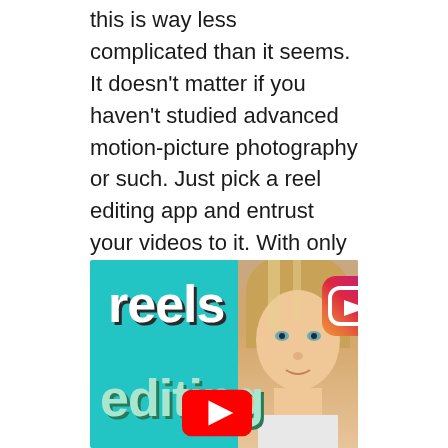this is way less complicated than it seems. It doesn't matter if you haven't studied advanced motion-picture photography or such. Just pick a reel editing app and entrust your videos to it. With only a few basic manipulations, you can obtain breathtaking results and gain more engagement on Instagram. Other than that, Reels is an entertaining way to unveil your artistic side. No matter what, we hope that you enjoy this modern-day cinematographic opportunity.
[Figure (illustration): Thumbnail image for a 'reels editing' video tutorial showing bold white text 'reels' and mint-green text 'editing' on a teal background, with an Instagram reel icon (colorful camera/play button logo), a YouTube red play button, and a blonde woman's face on the right side.]